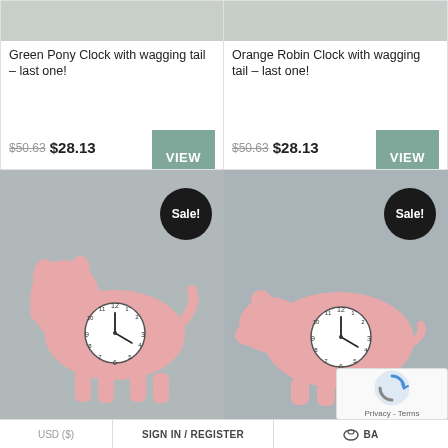[Figure (photo): Top image strip, left product card - gray background product image area]
Green Pony Clock with wagging tail – last one!
$50.63  $28.13  VIEW
[Figure (photo): Top image strip, right product card - gray background product image area]
Orange Robin Clock with wagging tail – last one!
$50.63  $28.13  VIEW
[Figure (photo): Pink dog/schnauzer shaped wall clock with analog clock face, Sale! badge, gray background]
[Figure (photo): Pink hippo shaped wall clock with analog clock face, Sale! badge, gray background]
USD ($)   SIGN IN / REGISTER   BA...